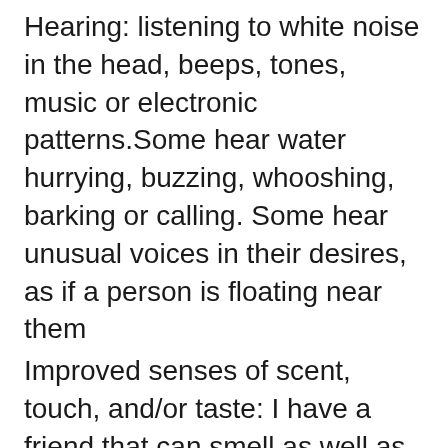Hearing: listening to white noise in the head, beeps, tones, music or electronic patterns.Some hear water hurrying, buzzing, whooshing, barking or calling. Some hear unusual voices in their desires, as if a person is floating near them
Improved senses of scent, touch, and/or taste: I have a friend that can smell as well as taste chemical additives in some foods in an instead unpleasant manner. Some mystics have reported smelling the fragrance of flowers from time to time (this sounds instead satisfying).
Advice on how to deal:.